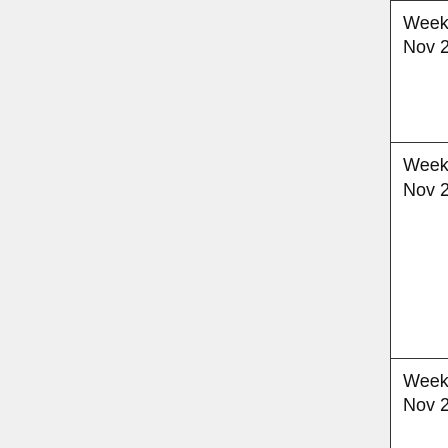| Date | Authors |  | Title |
| --- | --- | --- | --- |
| Week of Nov 29 | ShengZhi Wang, Kai Zhong, YiJing Zhou |  | Clean-Label Poisoning Attacks on Neural Networks |
| Week of Nov 29 | Ethan Cyrenne, Dieu Hoa Nguyen, Mary Jane Sin, Carolyn Wang |  |  |
| Week of Nov 29 | Bowen Zhang, Tyler Magnus Verhaar, Sam Senko |  | Deep Descent: Where Bi Models a More Dat |